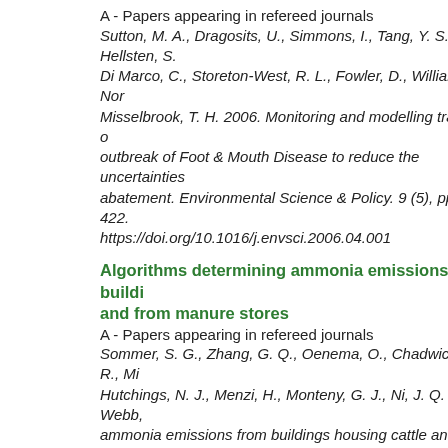A - Papers appearing in refereed journals
Sutton, M. A., Dragosits, U., Simmons, I., Tang, Y. S., Hellsten, S., Di Marco, C., Storeton-West, R. L., Fowler, D., Williams, J., Nor, Misselbrook, T. H. 2006. Monitoring and modelling trace-gas outbreak of Foot & Mouth Disease to reduce the uncertainties abatement. Environmental Science & Policy. 9 (5), pp. 407-422. https://doi.org/10.1016/j.envsci.2006.04.001
Algorithms determining ammonia emissions from buildings and from manure stores
A - Papers appearing in refereed journals
Sommer, S. G., Zhang, G. Q., Oenema, O., Chadwick, D. R., Mis, Hutchings, N. J., Menzi, H., Monteny, G. J., Ni, J. Q. and Webb, ammonia emissions from buildings housing cattle and pigs and in Agronomy. 89, pp. 261-335. https://doi.org/10.1016/S0065-
Setting up and monitoring of replicated and demonstration
C2 - Non-edited contributions to conferences
Barker, A., Kalisz, H., Dawkins, T., Grieveson, D., Barker, T., Hur Setting up and monitoring of replicated and demonstration fie